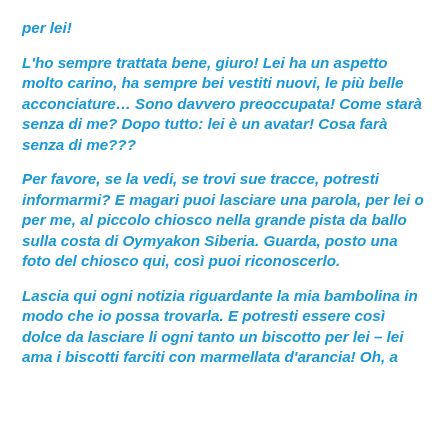per lei!
L'ho sempre trattata bene, giuro! Lei ha un aspetto molto carino, ha sempre bei vestiti nuovi, le più belle acconciature… Sono davvero preoccupata! Come starà senza di me? Dopo tutto: lei è un avatar! Cosa farà senza di me???
Per favore, se la vedi, se trovi sue tracce, potresti informarmi? E magari puoi lasciare una parola, per lei o per me, al piccolo chiosco nella grande pista da ballo sulla costa di Oymyakon Siberia. Guarda, posto una foto del chiosco qui, così puoi riconoscerlo.
Lascia qui ogni notizia riguardante la mia bambolina in modo che io possa trovarla. E potresti essere così dolce da lasciare li ogni tanto un biscotto per lei – lei ama i biscotti farciti con marmellata d'arancia! Oh, a